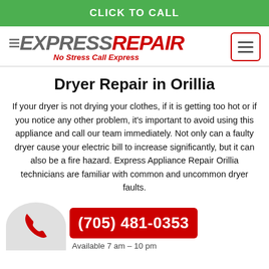CLICK TO CALL
[Figure (logo): Express Repair logo with tagline 'No Stress Call Express' and hamburger menu button]
Dryer Repair in Orillia
If your dryer is not drying your clothes, if it is getting too hot or if you notice any other problem, it's important to avoid using this appliance and call our team immediately. Not only can a faulty dryer cause your electric bill to increase significantly, but it can also be a fire hazard. Express Appliance Repair Orillia technicians are familiar with common and uncommon dryer faults.
[Figure (infographic): Phone icon on grey circle background with red button showing phone number (705) 481-0353 and text 'Available 7 am – 10 pm']